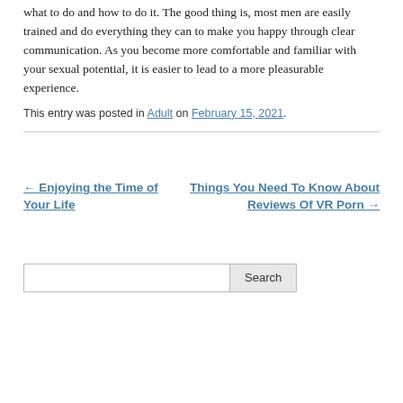what to do and how to do it. The good thing is, most men are easily trained and do everything they can to make you happy through clear communication. As you become more comfortable and familiar with your sexual potential, it is easier to lead to a more pleasurable experience.
This entry was posted in Adult on February 15, 2021.
← Enjoying the Time of Your Life
Things You Need To Know About Reviews Of VR Porn →
Search